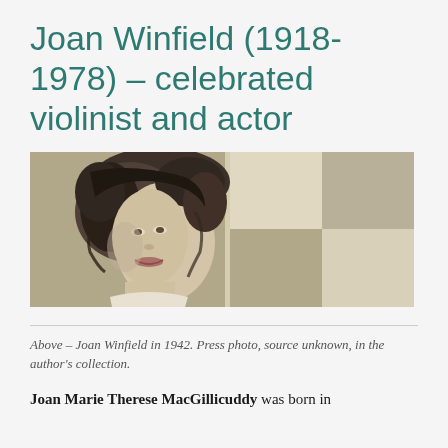Joan Winfield (1918-1978) – celebrated violinist and actor
[Figure (photo): Black and white press photo of Joan Winfield in 1942, showing a young woman with curly dark hair, smiling, in front of a checkered background.]
Above – Joan Winfield in 1942. Press photo, source unknown, in the author's collection.
Joan Marie Therese MacGillicuddy was born in